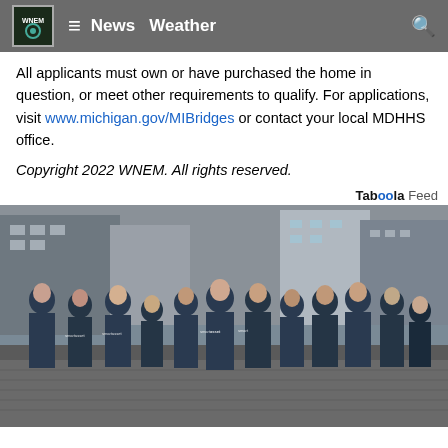WNEM News Weather
All applicants must own or have purchased the home in question, or meet other requirements to qualify. For applications, visit www.michigan.gov/MIBridges or contact your local MDHHS office.
Copyright 2022 WNEM. All rights reserved.
Taboola Feed
[Figure (photo): Group of people standing outdoors on a city street wearing dark blue SmartAsset branded t-shirts. About 12-13 people posing for a group photo on a cobblestone street with city buildings in the background.]